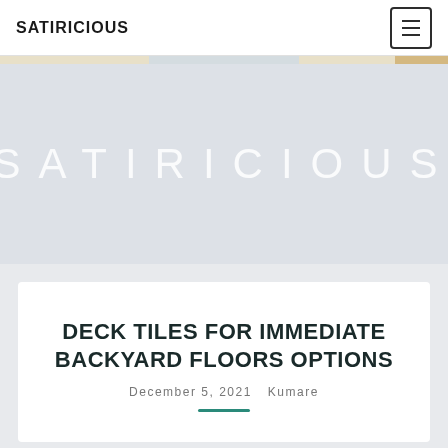SATIRICIOUS
[Figure (illustration): Hero banner with large faded white text reading SATIRICIOUS on a light grey background]
DECK TILES FOR IMMEDIATE BACKYARD FLOORS OPTIONS
December 5, 2021   Kumare